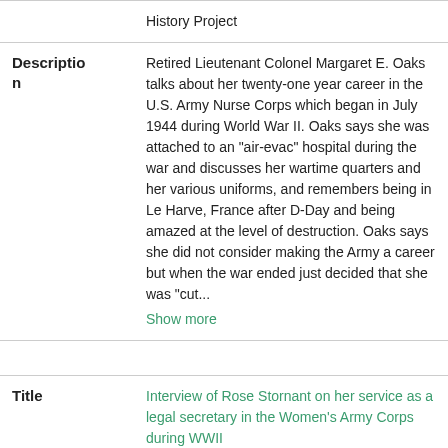| Field | Value |
| --- | --- |
|  | History Project |
| Description | Retired Lieutenant Colonel Margaret E. Oaks talks about her twenty-one year career in the U.S. Army Nurse Corps which began in July 1944 during World War II. Oaks says she was attached to an "air-evac" hospital during the war and discusses her wartime quarters and her various uniforms, and remembers being in Le Harve, France after D-Day and being amazed at the level of destruction. Oaks says she did not consider making the Army a career but when the war ended just decided that she was "cut... Show more |
| Title | Interview of Rose Stornant on her service as a legal secretary in the Women's Army Corps during WWII |
| Creator | Stornant, Rose, 1915-2002 |